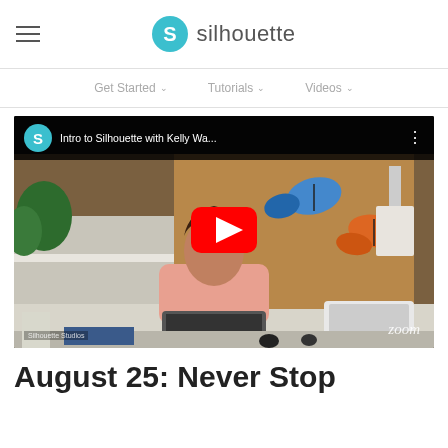silhouette
Get Started  Tutorials  Videos
[Figure (screenshot): YouTube video thumbnail showing a woman at a desk with a laptop and Silhouette Cameo machine, decorative butterflies on board behind her, title bar reads 'Intro to Silhouette with Kelly Wa...' with a YouTube play button overlay and 'zoom' watermark]
August 25: Never Stop